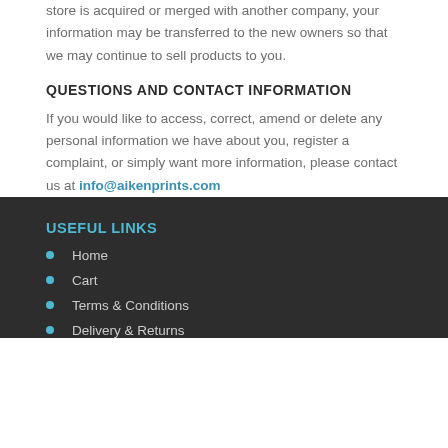store is acquired or merged with another company, your information may be transferred to the new owners so that we may continue to sell products to you.
QUESTIONS AND CONTACT INFORMATION
If you would like to access, correct, amend or delete any personal information we have about you, register a complaint, or simply want more information, please contact us at info@aikenprints.com
USEFUL LINKS
Home
Cart
Terms & Conditions
Delivery & Returns